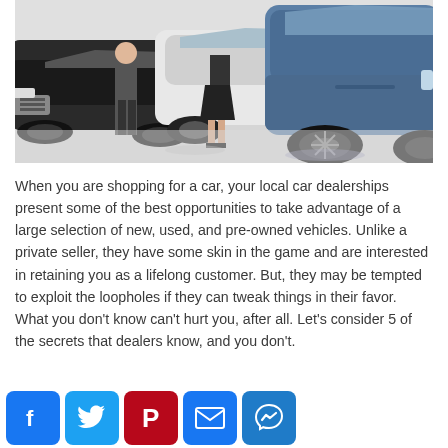[Figure (photo): Car dealership interior showing two people walking between cars, with a large blue SUV prominently in the foreground right]
When you are shopping for a car, your local car dealerships present some of the best opportunities to take advantage of a large selection of new, used, and pre-owned vehicles. Unlike a private seller, they have some skin in the game and are interested in retaining you as a lifelong customer. But, they may be tempted to exploit the loopholes if they can tweak things in their favor. What you don't know can't hurt you, after all. Let's consider 5 of the secrets that dealers know, and you don't.
[Figure (infographic): Social media share buttons: Facebook, Twitter, Pinterest, Email, Messenger]